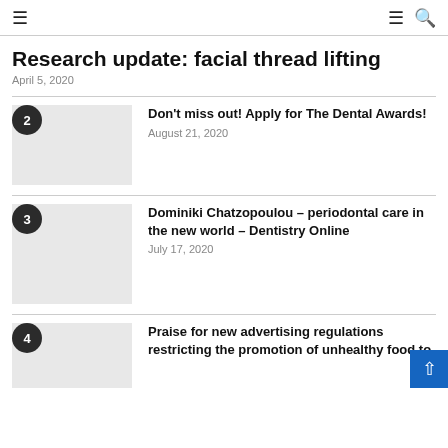≡  ≡ 🔍
Research update: facial thread lifting
April 5, 2020
2  Don't miss out! Apply for The Dental Awards!  August 21, 2020
3  Dominiki Chatzopoulou – periodontal care in the new world – Dentistry Online  July 17, 2020
4  Praise for new advertising regulations restricting the promotion of unhealthy food to